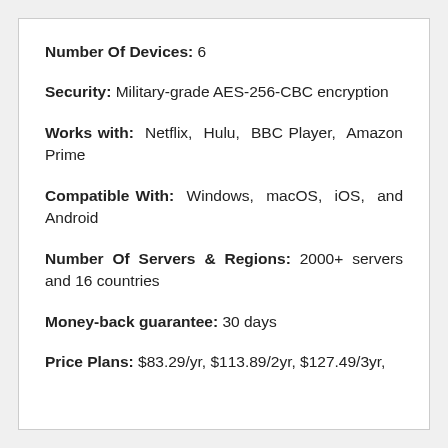Number Of Devices: 6
Security: Military-grade AES-256-CBC encryption
Works with: Netflix, Hulu, BBC Player, Amazon Prime
Compatible With: Windows, macOS, iOS, and Android
Number Of Servers & Regions: 2000+ servers and 16 countries
Money-back guarantee: 30 days
Price Plans: $83.29/yr, $113.89/2yr, $127.49/3yr,